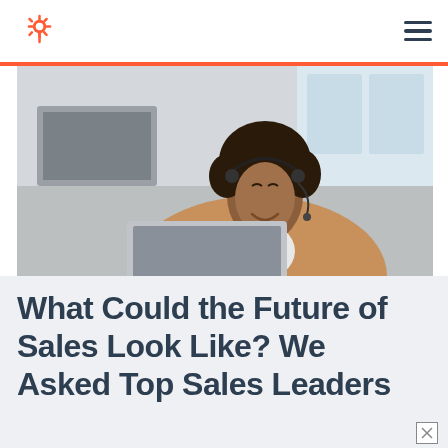HubSpot logo and navigation menu
[Figure (photo): A smiling woman wearing a headset and tan blazer, looking at a laptop, in a bright office setting]
What Could the Future of Sales Look Like? We Asked Top Sales Leaders